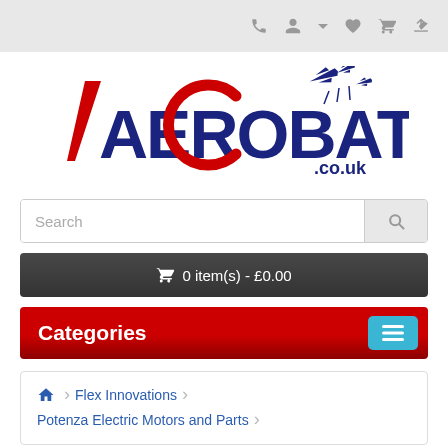Top navigation bar with phone, user, wishlist, cart, share icons
[Figure (logo): Aerobatx.co.uk logo with red and blue text and airplane silhouettes]
Search
0 item(s) - £0.00
Categories
Home > Flex Innovations > Potenza Electric Motors and Parts